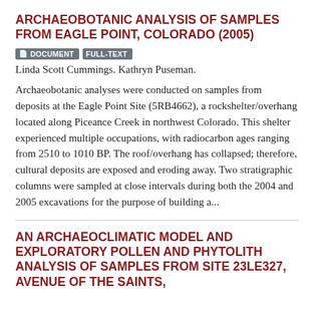ARCHAEOBOTANIC ANALYSIS OF SAMPLES FROM EAGLE POINT, COLORADO (2005)
DOCUMENT  FULL-TEXT  Linda Scott Cummings. Kathryn Puseman.
Archaeobotanic analyses were conducted on samples from deposits at the Eagle Point Site (5RB4662), a rockshelter/overhang located along Piceance Creek in northwest Colorado. This shelter experienced multiple occupations, with radiocarbon ages ranging from 2510 to 1010 BP. The roof/overhang has collapsed; therefore, cultural deposits are exposed and eroding away. Two stratigraphic columns were sampled at close intervals during both the 2004 and 2005 excavations for the purpose of building a...
AN ARCHAEOCLIMATIC MODEL AND EXPLORATORY POLLEN AND PHYTOLITH ANALYSIS OF SAMPLES FROM SITE 23LE327, AVENUE OF THE SAINTS,